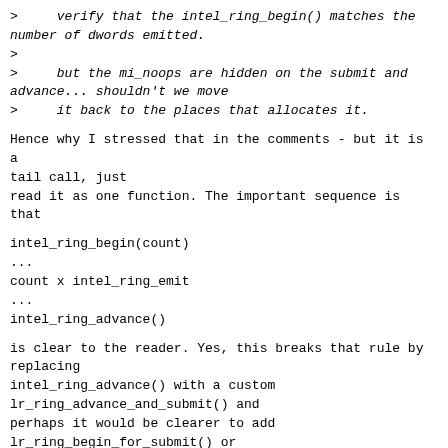>     verify that the intel_ring_begin() matches the
number of dwords emitted.
>
>     but the mi_noops are hidden on the submit and
advance... shouldn't we move
>     it back to the places that allocates it.
Hence why I stressed that in the comments - but it is a
tail call, just
read it as one function. The important sequence is that
intel_ring_begin(count)
...
count x intel_ring_emit
...
intel_ring_advance()
is clear to the reader. Yes, this breaks that rule by
replacing
intel_ring_advance() with a custom
lr_ring_advance_and_submit() and
perhaps it would be clearer to add
lr_ring_begin_for_submit() or
something to stress the slight discrepancy, but still
make the pairing
clear.
>     3. Is this even the right mechanism considering
the number of other ways
>     of automatically emitting instructions between
batches and contexts? We